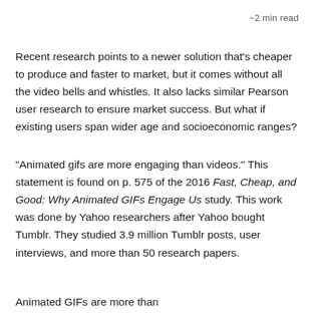~2 min read
Recent research points to a newer solution that's cheaper to produce and faster to market, but it comes without all the video bells and whistles. It also lacks similar Pearson user research to ensure market success. But what if existing users span wider age and socioeconomic ranges?
“Animated gifs are more engaging than videos.” This statement is found on p. 575 of the 2016 Fast, Cheap, and Good: Why Animated GIFs Engage Us study. This work was done by Yahoo researchers after Yahoo bought Tumblr. They studied 3.9 million Tumblr posts, user interviews, and more than 50 research papers.
Animated GIFs are more than just a trend — they are...